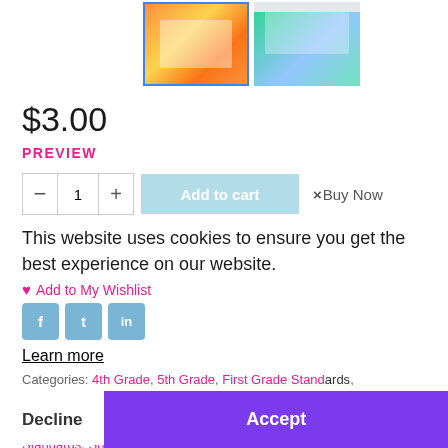[Figure (photo): Two product thumbnail images showing educational worksheets and task cards with colorful supplies]
$3.00
PREVIEW
This website uses cookies to ensure you get the best experience on our website.
Add to My Wishlist
Learn more
Categories: 4th Grade, 5th Grade, First Grade Standards, Informational Text, Informational/Nonfiction, Reading, Reading Task Cards, RL.4.2, RL.5.2, Second Grade Standards, Shop by Grade, Shop by Product Line, Shop by
Decline
Accept